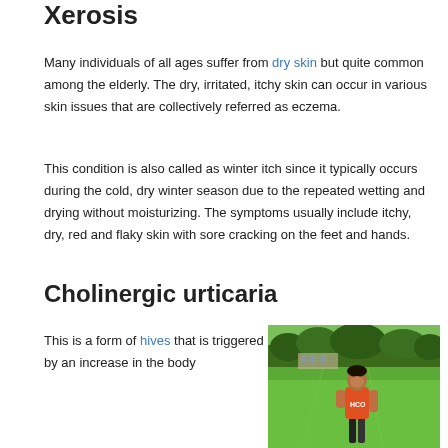Xerosis
Many individuals of all ages suffer from dry skin but quite common among the elderly. The dry, irritated, itchy skin can occur in various skin issues that are collectively referred as eczema.
This condition is also called as winter itch since it typically occurs during the cold, dry winter season due to the repeated wetting and drying without moisturizing. The symptoms usually include itchy, dry, red and flaky skin with sore cracking on the feet and hands.
Cholinergic urticaria
This is a form of hives that is triggered by an increase in the body
[Figure (photo): A person wearing an orange HCO tank top and dark shorts standing on a green grass field with trees in the background, appearing to look down at something.]